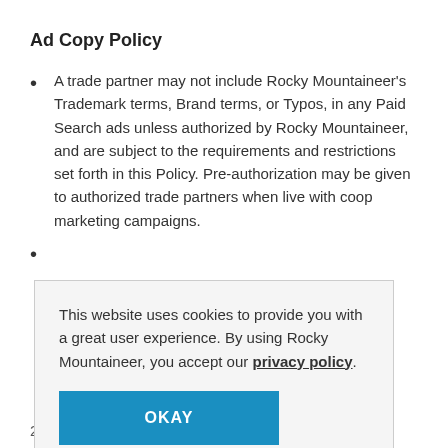Ad Copy Policy
A trade partner may not include Rocky Mountaineer's Trademark terms, Brand terms, or Typos, in any Paid Search ads unless authorized by Rocky Mountaineer, and are subject to the requirements and restrictions set forth in this Policy. Pre-authorization may be given to authorized trade partners when live with coop marketing campaigns.
[second bullet item — partially obscured by cookie overlay]
This website uses cookies to provide you with a great user experience. By using Rocky Mountaineer, you accept our privacy policy.
OKAY
terms purchased by the authorized trade partner,
2   The trade partner's ad redirects to a landing page